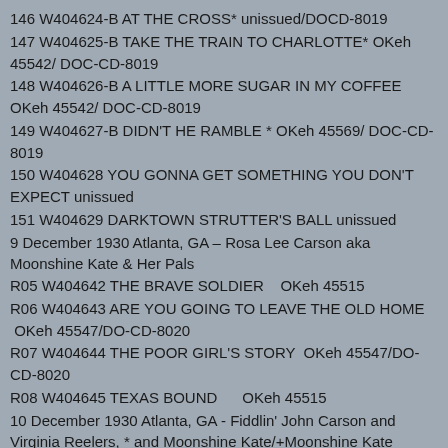146 W404624-B AT THE CROSS* unissued/DOCD-8019
147 W404625-B TAKE THE TRAIN TO CHARLOTTE* OKeh 45542/ DOC-CD-8019
148 W404626-B A LITTLE MORE SUGAR IN MY COFFEE OKeh 45542/ DOC-CD-8019
149 W404627-B DIDN'T HE RAMBLE * OKeh 45569/ DOC-CD-8019
150 W404628 YOU GONNA GET SOMETHING YOU DON'T EXPECT unissued
151 W404629 DARKTOWN STRUTTER'S BALL unissued
9 December 1930 Atlanta, GA – Rosa Lee Carson aka Moonshine Kate & Her Pals
R05 W404642 THE BRAVE SOLDIER   OKeh 45515
R06 W404643 ARE YOU GOING TO LEAVE THE OLD HOME  OKeh 45547/DO-CD-8020
R07 W404644 THE POOR GIRL'S STORY  OKeh 45547/DO-CD-8020
R08 W404645 TEXAS BOUND     OKeh 45515
10 December 1930 Atlanta, GA - Fiddlin' John Carson and Virginia Reelers, * and Moonshine Kate/+Moonshine Kate
R09 W404646 I SMELL YOUR HOE CAKE BURNING+ unissued